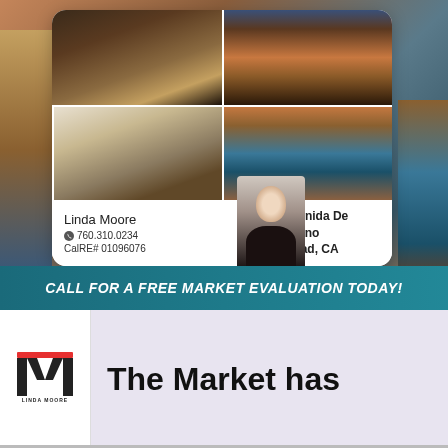[Figure (photo): Real estate listing advertisement with four property photos (kitchen, exterior, living room, pool/patio), agent photo, name Linda Moore, phone 760.310.0234, CalRE# 01096076, property address 3285 Avenida De Sueno Carlsbad CA, on a background of desert and pool scenery]
Linda Moore
760.310.0234
CalRE# 01096076
3285 Avenida De Sueno Carlsbad, CA
CALL FOR A FREE MARKET EVALUATION TODAY!
[Figure (logo): Linda Moore real estate logo - stylized M with red accent bar and text LINDA MOORE below]
The Market has